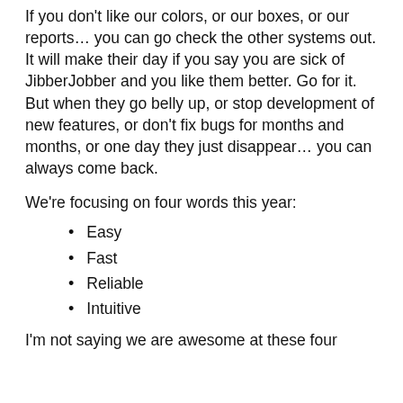If you don't like our colors, or our boxes, or our reports… you can go check the other systems out.  It will make their day if you say you are sick of JibberJobber and you like them better.  Go for it.  But when they go belly up, or stop development of new features, or don't fix bugs for months and months, or one day they just disappear… you can always come back.
We're focusing on four words this year:
Easy
Fast
Reliable
Intuitive
I'm not saying we are awesome at these four